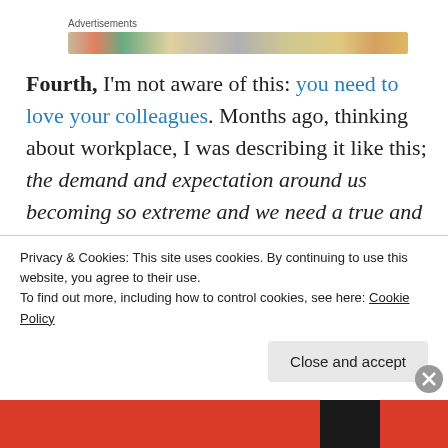[Figure (other): Advertisement banner with colorful gradient strip]
Fourth, I'm not aware of this: you need to love your colleagues. Months ago, thinking about workplace, I was describing it like this; the demand and expectation around us becoming so extreme and we need a true and diverse support (including emotions) from our colleagues, which is
Privacy & Cookies: This site uses cookies. By continuing to use this website, you agree to their use.
To find out more, including how to control cookies, see here: Cookie Policy
Close and accept